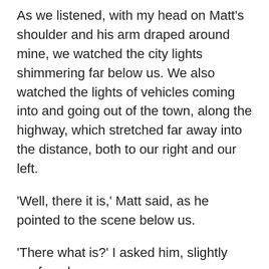As we listened, with my head on Matt's shoulder and his arm draped around mine, we watched the city lights shimmering far below us. We also watched the lights of vehicles coming into and going out of the town, along the highway, which stretched far away into the distance, both to our right and our left.
'Well, there it is,' Matt said, as he pointed to the scene below us.
'There what is?' I asked him, slightly confused.
'The road to our future,' he replied. 'We can go that way, or we can go that way,' he said, pointing to each line of headlights that stretched off for miles in both directions.
'Which way do you want to go?' I asked him.
He laughed, then said, 'Which ever way you want to take